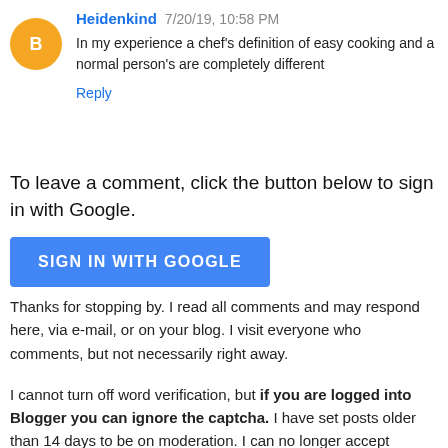Heidenkind  7/20/19, 10:58 PM
In my experience a chef's definition of easy cooking and a normal person's are completely different
Reply
To leave a comment, click the button below to sign in with Google.
[Figure (screenshot): Blue button labeled SIGN IN WITH GOOGLE]
Thanks for stopping by. I read all comments and may respond here, via e-mail, or on your blog. I visit everyone who comments, but not necessarily right away.
I cannot turn off word verification, but if you are logged into Blogger you can ignore the captcha. I have set posts older than 14 days to be on moderation. I can no longer accept